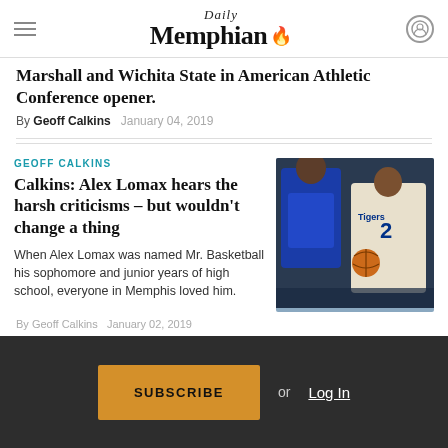Daily Memphian
Marshall and Wichita State in American Athletic Conference opener.
By Geoff Calkins   January 04, 2019
GEOFF CALKINS
Calkins: Alex Lomax hears the harsh criticisms – but wouldn't change a thing
[Figure (photo): Basketball player wearing Memphis Tigers jersey number 2 driving with the ball during a game]
When Alex Lomax was named Mr. Basketball his sophomore and junior years of high school, everyone in Memphis loved him.
By Geoff Calkins   January 02, 2019
SUBSCRIBE or Log In